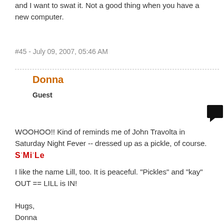and I want to swat it. Not a good thing when you have a new computer.
#45 - July 09, 2007, 05:46 AM
Donna
Guest
WOOHOO!! Kind of reminds me of John Travolta in Saturday Night Fever -- dressed up as a pickle, of course. SMiLe
I like the name Lill, too. It is peaceful. "Pickles" and "kay" OUT == LILL is IN!
Hugs,
Donna